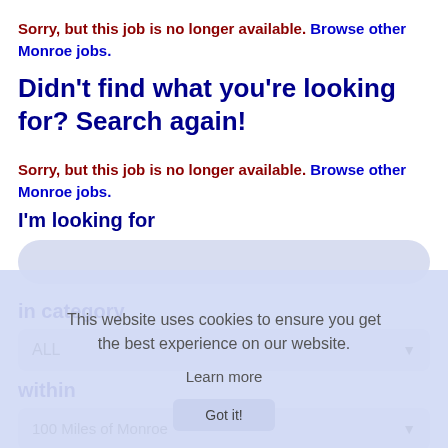Sorry, but this job is no longer available. Browse other Monroe jobs.
Didn't find what you're looking for? Search again!
Sorry, but this job is no longer available. Browse other Monroe jobs.
I'm looking for
[Figure (screenshot): Search input field with cookie consent overlay reading 'This website uses cookies to ensure you get the best experience on our website. Learn more. Got it!']
in category
ALL (dropdown)
within
100 Miles of Monroe (dropdown)